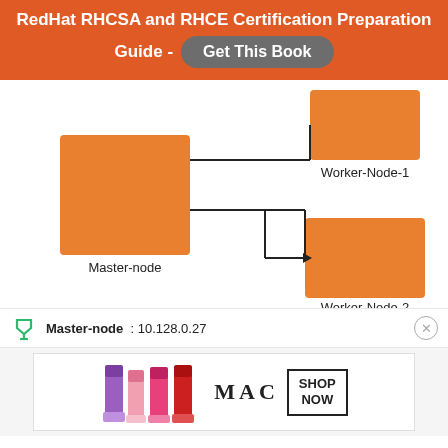RedHat RHCSA and RHCE Certification Preparation Guide - Get This Book
[Figure (network-graph): Network diagram showing Master-node (orange square) connected to Worker-Node-1 (orange rectangle, top right) and Worker-Node-2 (orange square, bottom right) via lines and arrows.]
Master-node : 10.128.0.27
[Figure (illustration): MAC cosmetics advertisement showing lipsticks in purple, pink, and red with MAC logo and SHOP NOW button.]